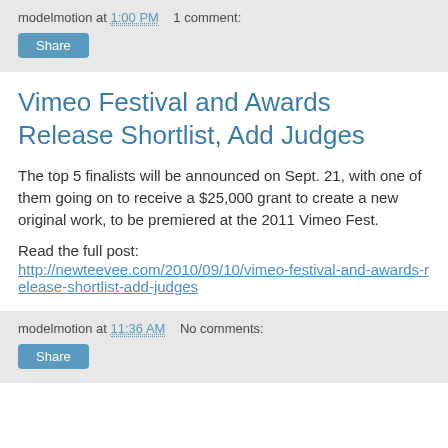modelmotion at 1:00 PM   1 comment:
Share
Vimeo Festival and Awards Release Shortlist, Add Judges
The top 5 finalists will be announced on Sept. 21, with one of them going on to receive a $25,000 grant to create a new original work, to be premiered at the 2011 Vimeo Fest.
Read the full post:
http://newteevee.com/2010/09/10/vimeo-festival-and-awards-release-shortlist-add-judges
modelmotion at 11:36 AM   No comments:
Share